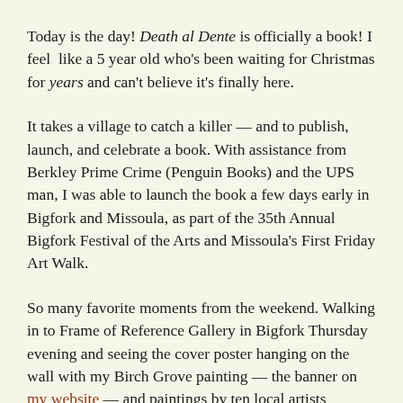Today is the day! Death al Dente is officially a book! I feel like a 5 year old who's been waiting for Christmas for years and can't believe it's finally here.
It takes a village to catch a killer — and to publish, launch, and celebrate a book. With assistance from Berkley Prime Crime (Penguin Books) and the UPS man, I was able to launch the book a few days early in Bigfork and Missoula, as part of the 35th Annual Bigfork Festival of the Arts and Missoula's First Friday Art Walk.
So many favorite moments from the weekend. Walking in to Frame of Reference Gallery in Bigfork Thursday evening and seeing the cover poster hanging on the wall with my Birch Grove painting — the banner on my website — and paintings by ten local artists celebrating Bigfork in Paint and Print. Seeing the food — so stunned I forgot to snap a picture — catered by Chef Dan Solberg from BruMar Estates using recipes from the book. Seeing my friend Louise Lamontagne, whom I met in Seattle 26 years ago and who now lives near here, and the